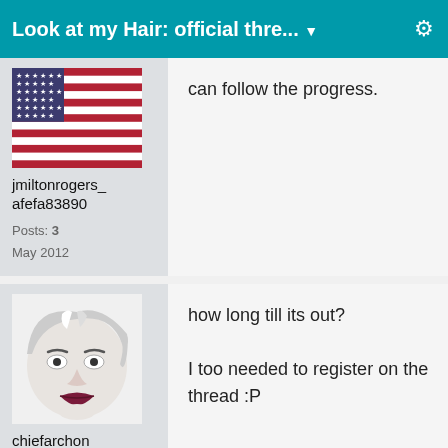Look at my Hair: official thre... ▼
can follow the progress.
jmiltonrogers_afefa83890
Posts: 3
May 2012
how long till its out?

I too needed to register on the thread :P
chiefarchon
Posts: 34
May 2012